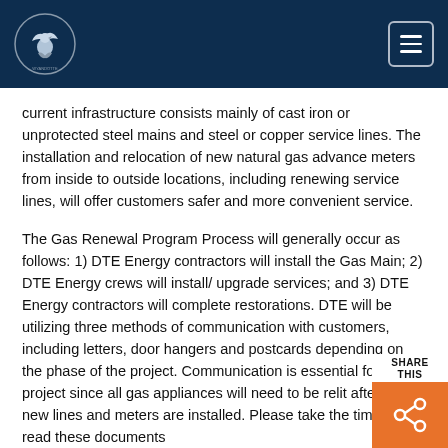Wyandotte Municipal Services
current infrastructure consists mainly of cast iron or unprotected steel mains and steel or copper service lines. The installation and relocation of new natural gas advance meters from inside to outside locations, including renewing service lines, will offer customers safer and more convenient service.
The Gas Renewal Program Process will generally occur as follows: 1) DTE Energy contractors will install the Gas Main; 2) DTE Energy crews will install/ upgrade services; and 3) DTE Energy contractors will complete restorations. DTE will be utilizing three methods of communication with customers, including letters, door hangers and postcards depending on the phase of the project. Communication is essential for this project since all gas appliances will need to be relit after the new lines and meters are installed. Please take the time to read these documents